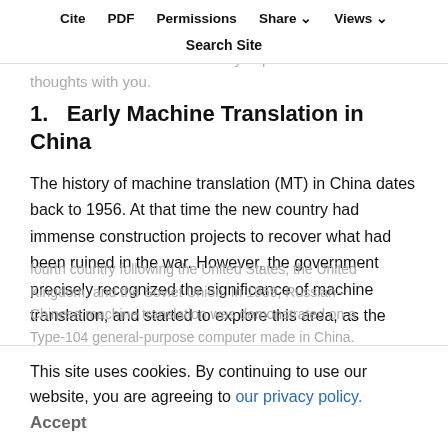today, to everyone here, my friends, colleagues, and students, either well-known scientists or young researchers: I'd like to share my experience and thoughts with you.
Cite   PDF   Permissions   Share   Views   Search Site
1.  Early Machine Translation in China
The history of machine translation (MT) in China dates back to 1956. At that time the new country had immense construction projects to recover what had been ruined in the war. However, the government precisely recognized the significance of machine translation, and started to explore this area, as the
fourth country following the United States, the United Kingdom, and the Soviet Union. In 1959, Russian-Chinese machine translation was demonstrated on a Type-104 general-purpose computer made in China.
This site uses cookies. By continuing to use our website, you are agreeing to our privacy policy.
Accept